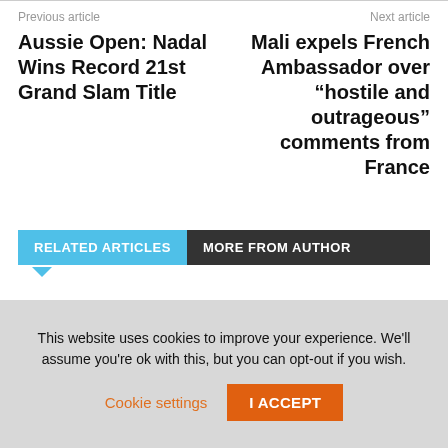Previous article
Next article
Aussie Open: Nadal Wins Record 21st Grand Slam Title
Mali expels French Ambassador over “hostile and outrageous” comments from France
RELATED ARTICLES
MORE FROM AUTHOR
Traditional Sports Federation Announces Abuja As Host of National Open Championship
Sport
This website uses cookies to improve your experience. We’ll assume you’re ok with this, but you can opt-out if you wish.
Cookie settings
I ACCEPT